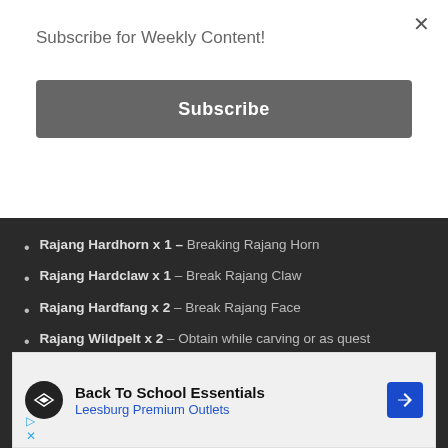Subscribe for Weekly Content!
Subscribe
Rajang Hardhorn x 1 – Breaking Rajang Horn
Rajang Hardclaw x 1 – Break Rajang Claw
Rajang Hardfang x 2 – Break Rajang Face
Rajang Wildpelt x 2 – Obtain while carving or as quest reward.
| STRENGHT | WEAKNESS |
| --- | --- |
[Figure (screenshot): Advertisement banner for Back To School Essentials at Leesburg Premium Outlets]